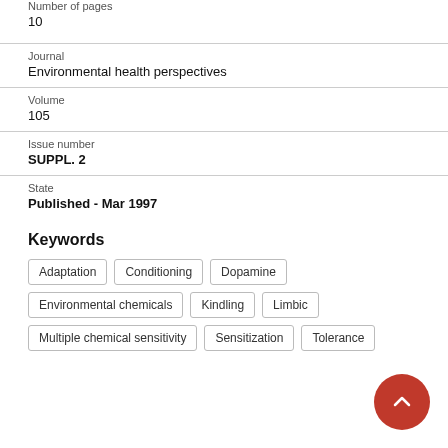Number of pages
10
Journal
Environmental health perspectives
Volume
105
Issue number
SUPPL. 2
State
Published - Mar 1997
Keywords
Adaptation
Conditioning
Dopamine
Environmental chemicals
Kindling
Limbic
Multiple chemical sensitivity
Sensitization
Tolerance